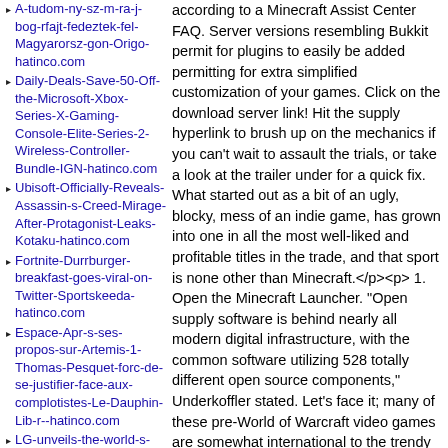A-tudom-ny-sz-m-ra-j-bog-rfajt-fedeztek-fel-Magyarorsz-gon-Origo-hatinco.com
Daily-Deals-Save-50-Off-the-Microsoft-Xbox-Series-X-Gaming-Console-Elite-Series-2-Wireless-Controller-Bundle-IGN-hatinco.com
Ubisoft-Officially-Reveals-Assassin-s-Creed-Mirage-After-Protagonist-Leaks-Kotaku-hatinco.com
Fortnite-Durrburger-breakfast-goes-viral-on-Twitter-Sportskeeda-hatinco.com
Espace-Apr-s-ses-propos-sur-Artemis-1-Thomas-Pesquet-forc-de-se-justifier-face-aux-complotistes-Le-Dauphin-Lib-r--hatinco.com
LG-unveils-the-world-s-largest-OLED-TV-with-a-97-l
according to a Minecraft Assist Center FAQ. Server versions resembling Bukkit permit for plugins to easily be added permitting for extra simplified customization of your games. Click on the download server link! Hit the supply hyperlink to brush up on the mechanics if you can't wait to assault the trials, or take a look at the trailer under for a quick fix. What started out as a bit of an ugly, blocky, mess of an indie game, has grown into one in all the most well-liked and profitable titles in the trade, and that sport is none other than Minecraft.</p><p> 1. Open the Minecraft Launcher. "Open supply software is behind nearly all modern digital infrastructure, with the common software utilizing 528 totally different open source components," Underkoffler stated. Let's face it; many of these pre-World of Warcraft video games are somewhat international to the trendy gamer. Servers are only accessible in North American and European nations. Log4Shell was first discovered in Microsoft-owned Minecraft, although LunaSec? warns that "many, many services" are weak to this exploit due to Log4j's "ubiquitous" presence in nearly all main Java-based mostly enterprise apps and servers. One of the first within the enterprise. The Minecraft participant BoomerNA, who has solely